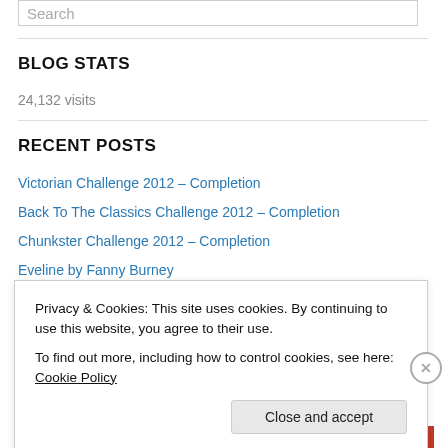BLOG STATS
24,132 visits
RECENT POSTS
Victorian Challenge 2012 – Completion
Back To The Classics Challenge 2012 – Completion
Chunkster Challenge 2012 – Completion
Eveline by Fanny Burney
Privacy & Cookies: This site uses cookies. By continuing to use this website, you agree to their use.
To find out more, including how to control cookies, see here: Cookie Policy
Close and accept